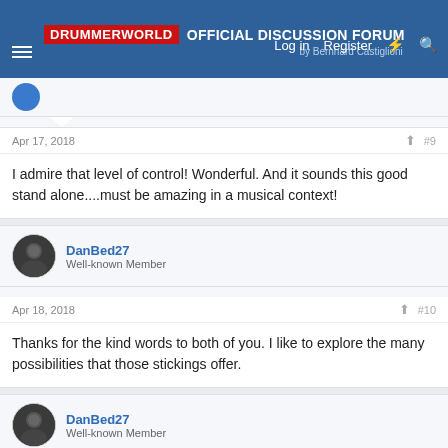DRUMMERWORLD OFFICIAL DISCUSSION FORUM by Bernhard Castiglioni
Apr 17, 2018  #9
I admire that level of control! Wonderful. And it sounds this good stand alone....must be amazing in a musical context!
DanBed27
Well-known Member
Apr 18, 2018  #10
Thanks for the kind words to both of you. I like to explore the many possibilities that those stickings offer.
DanBed27
Well-known Member